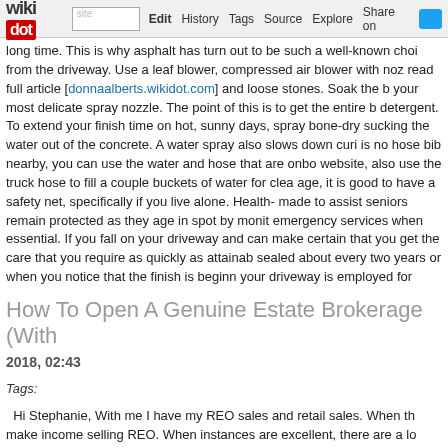wikidot | site | Edit | History | Tags | Source | Explore | Share on [Twitter]
long time. This is why asphalt has turn out to be such a well-known choi from the driveway. Use a leaf blower, compressed air blower with noz read full article [donnaalberts.wikidot.com] and loose stones. Soak the b your most delicate spray nozzle. The point of this is to get the entire b detergent. To extend your finish time on hot, sunny days, spray bone-dry sucking the water out of the concrete. A water spray also slows down curi is no hose bib nearby, you can use the water and hose that are onbo website, also use the truck hose to fill a couple buckets of water for clea age, it is good to have a safety net, specifically if you live alone. Health- made to assist seniors remain protected as they age in spot by monit emergency services when essential. If you fall on your driveway and can make certain that you get the care that you require as quickly as attainab sealed about every two years or when you notice that the finish is beginn your driveway is employed for regular daily visitors and you do not live i your concrete drive is at a enterprise, you might want to seal more typica marketplace and you can find them at any large box residence improveme
How To Open A Genuine Estate Brokerage (With
2018, 02:43
Tags:
Hi Stephanie, With me I have my REO sales and retail sales. When th make income selling REO. When instances are excellent, there are a lo funds with a lot more conventional true estate. It is the identical with inve times are poor and when they are excellent rents are typically greater a there is often opportunity due to the fact men and women constantly w versatile business and our agents reflect that. They all have the ability t